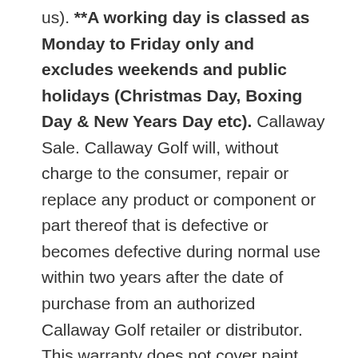us). **A working day is classed as Monday to Friday only and excludes weekends and public holidays (Christmas Day, Boxing Day & New Years Day etc). Callaway Sale. Callaway Golf will, without charge to the consumer, repair or replace any product or component or part thereof that is defective or becomes defective during normal use within two years after the date of purchase from an authorized Callaway Golf retailer or distributor. This warranty does not cover paint scratches, cosmetic blemishes or other normal wear and tear. Call 888-382-9604 or email customlogo@callawaygolf.com. If returned outside the 28 days after receipt of your order, the item will be returned to you with a delivery charge payable of £6 (UK Mainland Only - Other charges apply for outside this area). Use spaces to separate tags. You must buy this product before you can add a review. 9 months Interest free (0%). How much